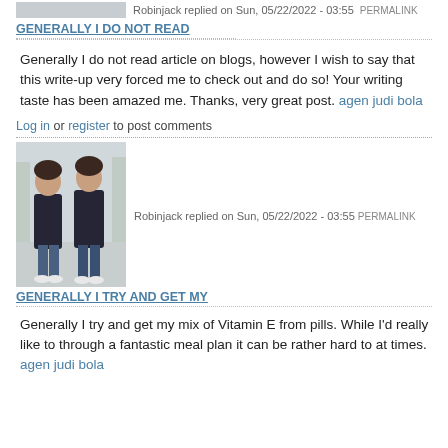Robinjack replied on Sun, 05/22/2022 - 03:55 PERMALINK
GENERALLY I DO NOT READ
Generally I do not read article on blogs, however I wish to say that this write-up very forced me to check out and do so! Your writing taste has been amazed me. Thanks, very great post. agen judi bola
Log in or register to post comments
[Figure (photo): Photo of two people walking outdoors wearing black hoodies and jeans]
Robinjack replied on Sun, 05/22/2022 - 03:55 PERMALINK
GENERALLY I TRY AND GET MY
Generally I try and get my mix of Vitamin E from pills. While I'd really like to through a fantastic meal plan it can be rather hard to at times. agen judi bola